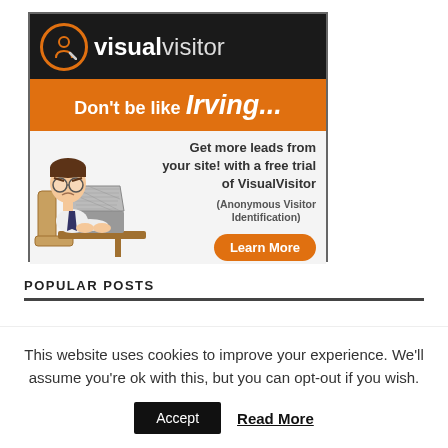[Figure (illustration): VisualVisitor advertisement banner. Dark top bar with orange-circle logo and 'visualvisitor' text. Orange bar with 'Don't be like Irving...' headline. Lower section shows cartoon of frustrated man at desk with laptop, alongside text 'Get more leads from your site! with a free trial of VisualVisitor (Anonymous Visitor Identification)' and an orange 'Learn More' button.]
POPULAR POSTS
This website uses cookies to improve your experience. We'll assume you're ok with this, but you can opt-out if you wish.
Accept   Read More